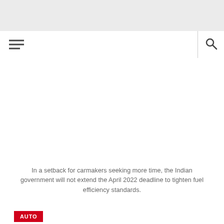In a setback for carmakers seeking more time, the Indian government will not extend the April 2022 deadline to tighten fuel efficiency standards.
AUTO